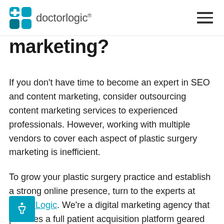doctorlogic
marketing?
If you don't have time to become an expert in SEO and content marketing, consider outsourcing content marketing services to experienced professionals. However, working with multiple vendors to cover each aspect of plastic surgery marketing is inefficient.
To grow your plastic surgery practice and establish a strong online presence, turn to the experts at DoctorLogic. We're a digital marketing agency that provides a full patient acquisition platform geared toward plastic surgery marketing. This includes services that cover SEO, content marketing, reputation